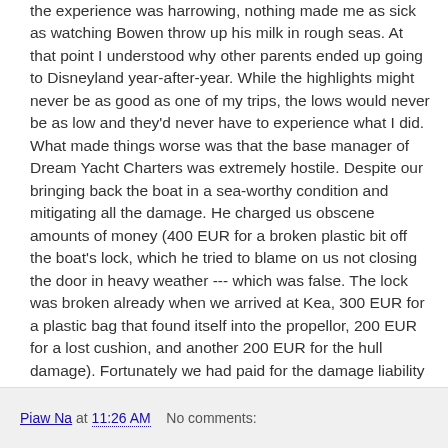the experience was harrowing, nothing made me as sick as watching Bowen throw up his milk in rough seas. At that point I understood why other parents ended up going to Disneyland year-after-year. While the highlights might never be as good as one of my trips, the lows would never be as low and they'd never have to experience what I did. What made things worse was that the base manager of Dream Yacht Charters was extremely hostile. Despite our bringing back the boat in a sea-worthy condition and mitigating all the damage. He charged us obscene amounts of money (400 EUR for a broken plastic bit off the boat's lock, which he tried to blame on us not closing the door in heavy weather --- which was false. The lock was broken already when we arrived at Kea, 300 EUR for a plastic bag that found itself into the propellor, 200 EUR for a lost cushion, and another 200 EUR for the hull damage). Fortunately we had paid for the damage liability insurance, or he would have found a way to charge us more money. It was quite clear that Dream Yacht Charters doesn't rely on repeat customers.
Piaw Na at 11:26 AM    No comments: